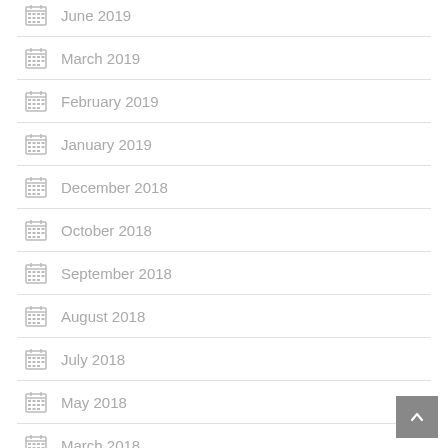June 2019
March 2019
February 2019
January 2019
December 2018
October 2018
September 2018
August 2018
July 2018
May 2018
March 2018
February 2018